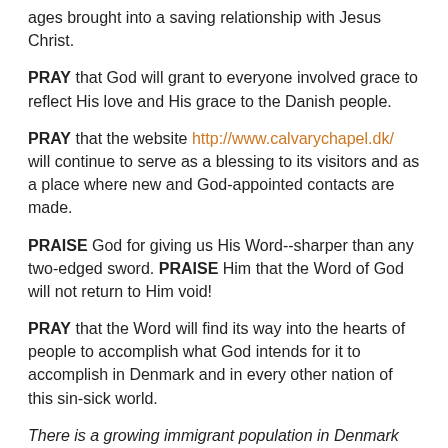ages brought into a saving relationship with Jesus Christ.
PRAY that God will grant to everyone involved grace to reflect His love and His grace to the Danish people.
PRAY that the website http://www.calvarychapel.dk/ will continue to serve as a blessing to its visitors and as a place where new and God-appointed contacts are made.
PRAISE God for giving us His Word--sharper than any two-edged sword. PRAISE Him that the Word of God will not return to Him void!
PRAY that the Word will find its way into the hearts of people to accomplish what God intends for it to accomplish in Denmark and in every other nation of this sin-sick world.
There is a growing immigrant population in Denmark that offers new and different opportunities for evangelistic outreach.
PRAY for open doors to present the Gospel of the grace of